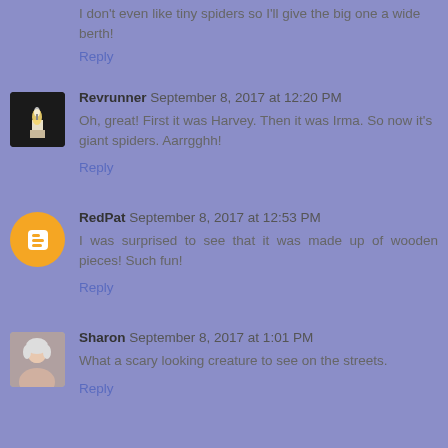I don't even like tiny spiders so I'll give the big one a wide berth!
Reply
Revrunner   September 8, 2017 at 12:20 PM
Oh, great! First it was Harvey. Then it was Irma. So now it's giant spiders. Aarrgghh!
Reply
RedPat   September 8, 2017 at 12:53 PM
I was surprised to see that it was made up of wooden pieces! Such fun!
Reply
Sharon   September 8, 2017 at 1:01 PM
What a scary looking creature to see on the streets.
Reply